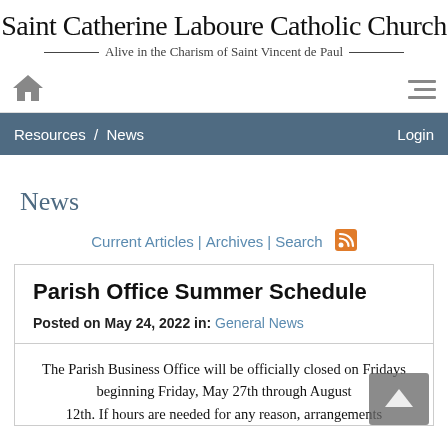Saint Catherine Laboure Catholic Church
Alive in the Charism of Saint Vincent de Paul
Resources / News  Login
News
Current Articles | Archives | Search
Parish Office Summer Schedule
Posted on May 24, 2022 in: General News
The Parish Business Office will be officially closed on Fridays beginning Friday, May 27th through August 12th. If hours are needed for any reason, arrangements